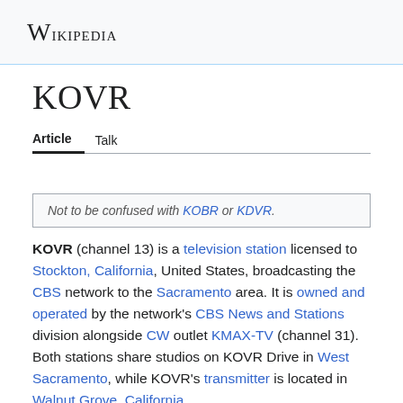Wikipedia
KOVR
Article   Talk
Not to be confused with KOBR or KDVR.
KOVR (channel 13) is a television station licensed to Stockton, California, United States, broadcasting the CBS network to the Sacramento area. It is owned and operated by the network's CBS News and Stations division alongside CW outlet KMAX-TV (channel 31). Both stations share studios on KOVR Drive in West Sacramento, while KOVR's transmitter is located in Walnut Grove, California.